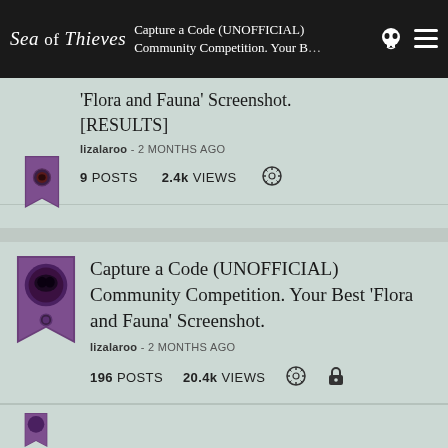Sea of Thieves — Capture a Code (UNOFFICIAL) Community Competition. Your Best 'Flora and Fauna' Screenshot. [RESULTS] — lizalaroo • 2 MONTHS AGO — 9 POSTS  2.4k VIEWS
'Flora and Fauna' Screenshot. [RESULTS]
lizalaroo • 2 MONTHS AGO
9  POSTS    2.4k  VIEWS
Capture a Code (UNOFFICIAL) Community Competition. Your Best 'Flora and Fauna' Screenshot.
lizalaroo • 2 MONTHS AGO
196  POSTS    20.4k  VIEWS